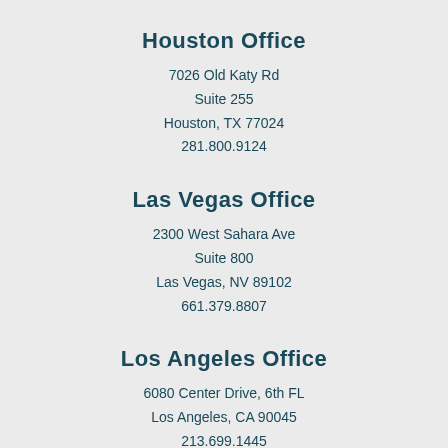Houston Office
7026 Old Katy Rd
Suite 255
Houston, TX 77024
281.800.9124
Las Vegas Office
2300 West Sahara Ave
Suite 800
Las Vegas, NV 89102
661.379.8807
Los Angeles Office
6080 Center Drive, 6th FL
Los Angeles, CA 90045
213.699.1445
McKinney Office
2150 S Central Expressway